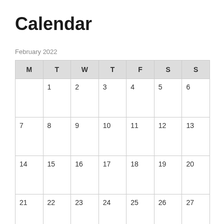Calendar
February 2022
| M | T | W | T | F | S | S |
| --- | --- | --- | --- | --- | --- | --- |
|  | 1 | 2 | 3 | 4 | 5 | 6 |
| 7 | 8 | 9 | 10 | 11 | 12 | 13 |
| 14 | 15 | 16 | 17 | 18 | 19 | 20 |
| 21 | 22 | 23 | 24 | 25 | 26 | 27 |
| 28 |  |  |  |  |  |  |
| « Jan |  |  | Mar » |  |  |  |